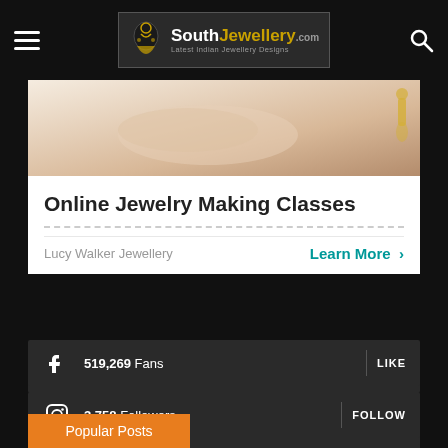SouthJewellery.com — Latest Indian Jewellery Designs
[Figure (photo): Partial view of hands/jewelry – advertisement banner image for Lucy Walker Jewellery online jewelry making classes]
Online Jewelry Making Classes
Lucy Walker Jewellery    Learn More >
519,269  Fans   LIKE
3,758  Followers   FOLLOW
194  Followers   FOLLOW
Popular Posts